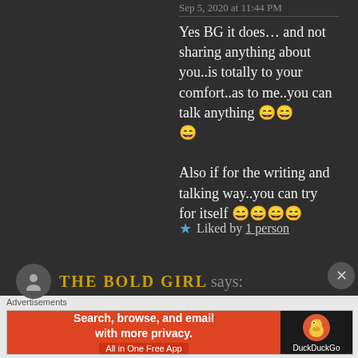Sep 5, 2020 at 11:44 PM
Yes BG it does… and not sharing anything about you..is totally to your comfort..as to me..you can talk anything 😄😄😄

Also if for the writing and talking way..you can try for itself 😄😄😄😄
★ Liked by 1 person
THE BOLD GIRL says:
Advertisements
[Figure (screenshot): DuckDuckGo advertisement banner: orange left panel with text 'Search, browse, and email with more privacy. All in One Free App' and dark right panel with DuckDuckGo logo and duck icon.]